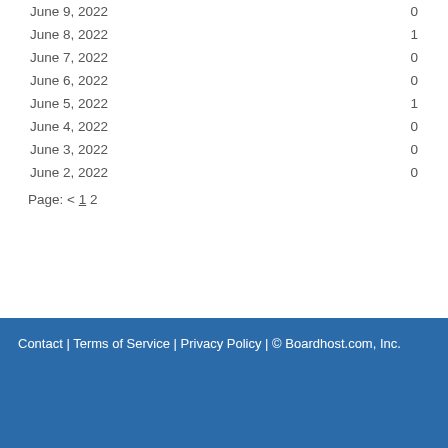| Date | Count |
| --- | --- |
| June 9, 2022 | 0 |
| June 8, 2022 | 1 |
| June 7, 2022 | 0 |
| June 6, 2022 | 0 |
| June 5, 2022 | 1 |
| June 4, 2022 | 0 |
| June 3, 2022 | 0 |
| June 2, 2022 | 0 |
Page: < 1 2
Contact | Terms of Service | Privacy Policy | © Boardhost.com, Inc.